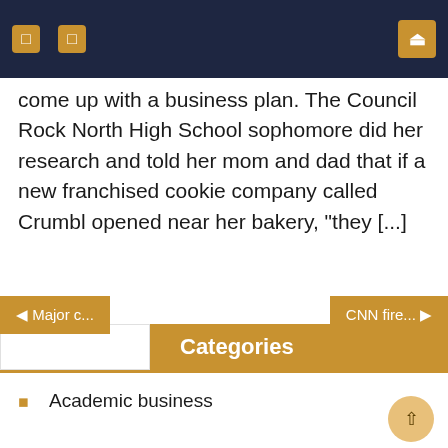Navigation bar with menu icons and search
come up with a business plan. The Council Rock North High School sophomore did her research and told her mom and dad that if a new franchised cookie company called Crumbl opened near her bakery, "they [...]"
Categories
Academic business
Business course
Business information
Business major
Business student